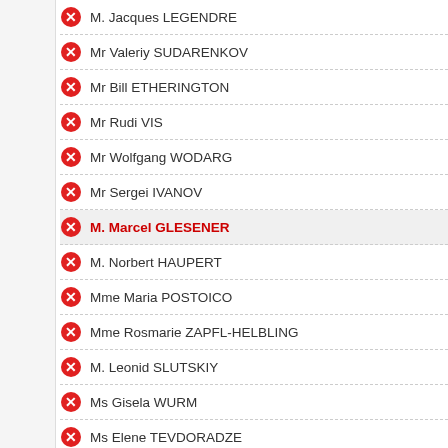M. Jacques LEGENDRE
Mr Valeriy SUDARENKOV
Mr Bill ETHERINGTON
Mr Rudi VIS
Mr Wolfgang WODARG
Mr Sergei IVANOV
M. Marcel GLESENER
M. Norbert HAUPERT
Mme Maria POSTOICO
Mme Rosmarie ZAPFL-HELBLING
M. Leonid SLUTSKIY
Ms Gisela WURM
Ms Elene TEVDORADZE
Mr Rafael HUSEYNOV
Mr Luc Van den BRANDE
M. Pasquale NESSA
M. Francis GRIGNON